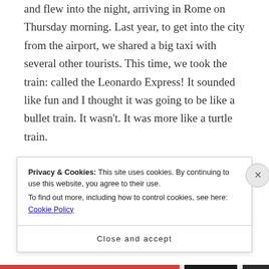and flew into the night, arriving in Rome on Thursday morning. Last year, to get into the city from the airport, we shared a big taxi with several other tourists. This time, we took the train: called the Leonardo Express! It sounded like fun and I thought it was going to be like a bullet train. It wasn't. It was more like a turtle train.
We met up with Holly and Lacey at the hotel and set off to see what we could see. We rode the “Big Bus” – a hop-on, hop-off style bus that took us all
Privacy & Cookies: This site uses cookies. By continuing to use this website, you agree to their use.
To find out more, including how to control cookies, see here: Cookie Policy
Close and accept